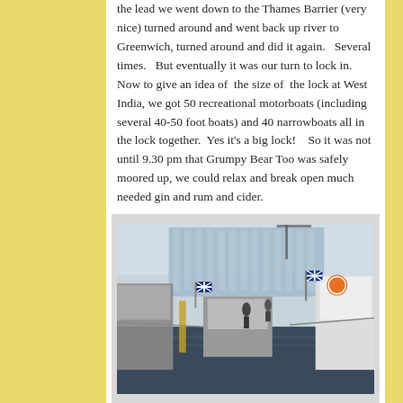the lead we went down to the Thames Barrier (very nice) turned around and went back up river to Greenwich, turned around and did it again.   Several times.   But eventually it was our turn to lock in.  Now to give an idea of  the size of  the lock at West India, we got 50 recreational motorboats (including several 40-50 foot boats) and 40 narrowboats all in the lock together.  Yes it's a big lock!    So it was not until 9.30 pm that Grumpy Bear Too was safely moored up, we could relax and break open much needed gin and rum and cider.
[Figure (photo): Photo of many boats moored closely together in a lock or marina, with people visible on the boats, UK flags flying, and large modern glass buildings in the background.]